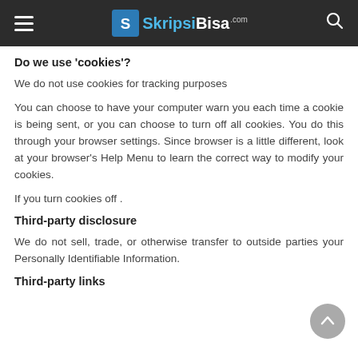SkipsiBisa.Com — site header with hamburger menu and search icon
Do we use 'cookies'?
We do not use cookies for tracking purposes
You can choose to have your computer warn you each time a cookie is being sent, or you can choose to turn off all cookies. You do this through your browser settings. Since browser is a little different, look at your browser's Help Menu to learn the correct way to modify your cookies.
If you turn cookies off .
Third-party disclosure
We do not sell, trade, or otherwise transfer to outside parties your Personally Identifiable Information.
Third-party links